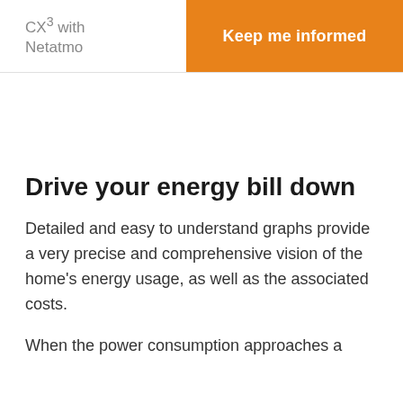CX³ with Netatmo
Keep me informed
Drive your energy bill down
Detailed and easy to understand graphs provide a very precise and comprehensive vision of the home's energy usage, as well as the associated costs.
When the power consumption approaches a